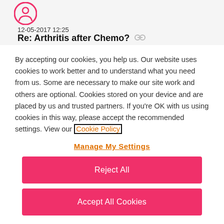[Figure (logo): Pink circle logo with a person icon, partially visible at top left]
12-05-2017 12:25
Re: Arthritis after Chemo?
By accepting our cookies, you help us. Our website uses cookies to work better and to understand what you need from us. Some are necessary to make our site work and others are optional. Cookies stored on your device and are placed by us and trusted partners. If you're OK with us using cookies in this way, please accept the recommended settings. View our Cookie Policy
Manage My Settings
Reject All
Accept All Cookies